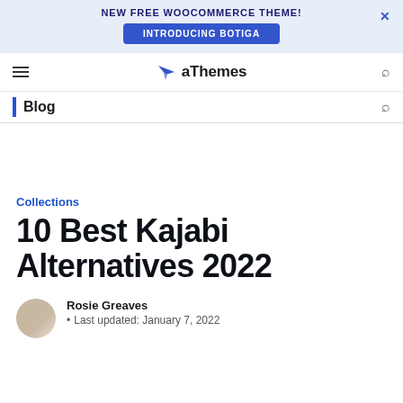NEW FREE WOOCOMMERCE THEME! INTRODUCING BOTIGA ×
aThemes
Blog
Collections
10 Best Kajabi Alternatives 2022
Rosie Greaves
Last updated: January 7, 2022